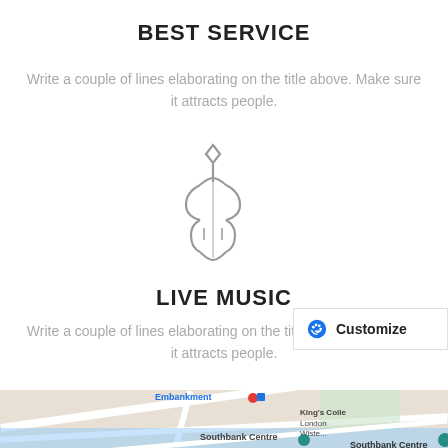BEST SERVICE
Write a couple of lines elaborating on the title above. Make sure it attracts people.
[Figure (illustration): Outline icon of a violin/fiddle with a bow tip (diamond shape) above it, drawn in gray lines on white background. A floating 'Customize' button with a blue paint palette icon appears to the right.]
LIVE MUSIC
Write a couple of lines elaborating on the title above. Make sure it attracts people.
[Figure (map): Bottom portion of a Google Maps view showing London area near Embankment, Southbank Centre, and King's College London. Map shows streets, river Thames, and location markers.]